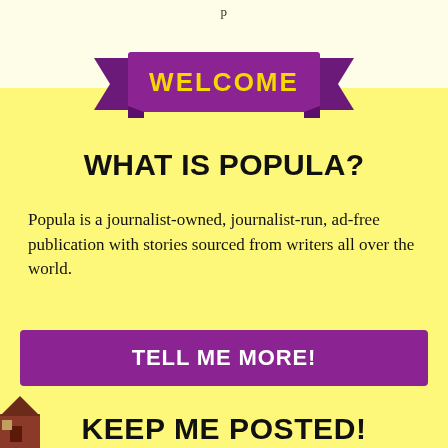p
[Figure (illustration): Purple ribbon/banner with yellow bold text reading WELCOME]
WHAT IS POPULA?
Popula is a journalist-owned, journalist-run, ad-free publication with stories sourced from writers all over the world.
TELL ME MORE!
[Figure (illustration): Partial image of a building/house icon at bottom left]
KEEP ME POSTED!